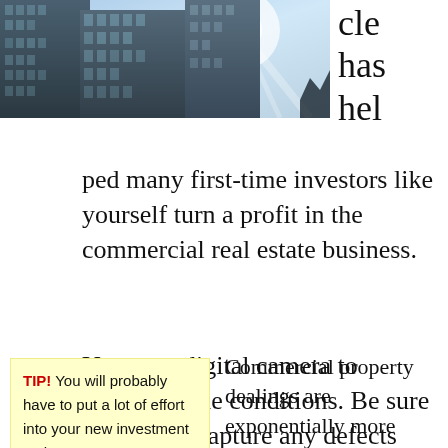[Figure (photo): Photograph of tall glass commercial skyscrapers viewed from below against a bright sky]
cle has hel
ped many first-time investors like yourself turn a profit in the commercial real estate business.
Use your digital camera to document the conditions. Be sure the photos capture any defects that exist in the unit, discoloration, or spots).
TIP! You will probably have to put a lot of effort into your new investment at the
Commercial property dealings are exponentially more complex and longer transactions than buying a